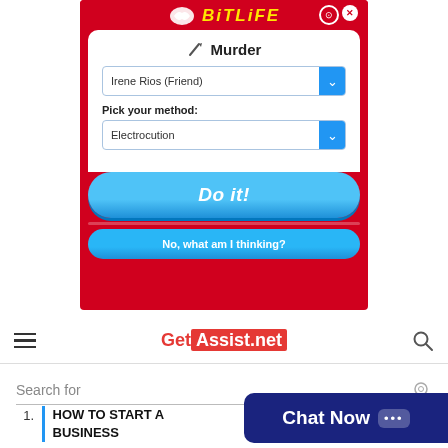[Figure (screenshot): BitLife app screenshot showing a Murder screen with a dropdown for 'Irene Rios (Friend)', a 'Pick your method:' dropdown set to 'Electrocution', a blue 'Do it!' button, and a 'No, what am I thinking?' button on a red background.]
Get Assist.net
Search for
HOW TO START A BUSINESS